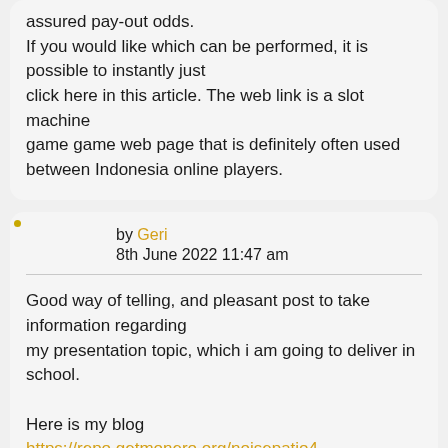assured pay-out odds.
If you would like which can be performed, it is possible to instantly just
click here in this article. The web link is a slot machine
game game web page that is definitely often used between Indonesia online players.
by Geri
8th June 2022 11:47 am
Good way of telling, and pleasant post to take information regarding
my presentation topic, which i am going to deliver in school.

Here is my blog
https://repo.getmonero.org/noisepatio4